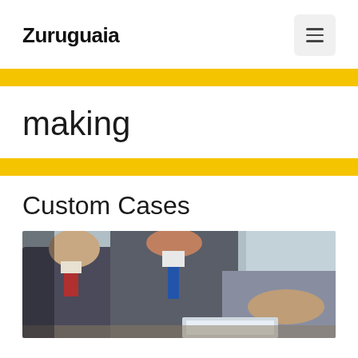Zuruguaia
making
Custom Cases
[Figure (photo): Two business professionals in suits sitting at a table having a discussion, one gesturing with his hand, with a laptop visible in the foreground]